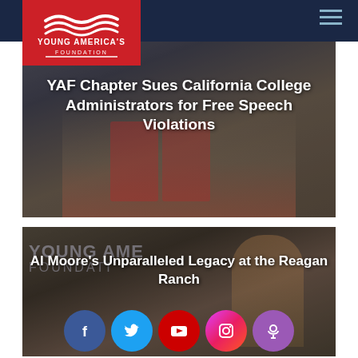Young America's Foundation
[Figure (photo): Three young people wearing YAF t-shirts posing together in front of a school mascot banner]
YAF Chapter Sues California College Administrators for Free Speech Violations
[Figure (photo): Man speaking at Young America's Foundation event, smiling]
Al Moore's Unparalleled Legacy at the Reagan Ranch
[Figure (infographic): Social media icons row: Facebook, Twitter, YouTube, Instagram, Podcast]